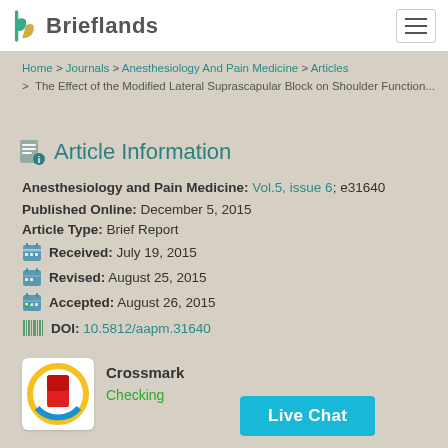Brieflands
Home > Journals > Anesthesiology And Pain Medicine > Articles > The Effect of the Modified Lateral Suprascapular Block on Shoulder Function...
Article Information
Anesthesiology and Pain Medicine: Vol.5, issue 6; e31640
Published Online: December 5, 2015
Article Type: Brief Report
Received: July 19, 2015
Revised: August 25, 2015
Accepted: August 26, 2015
DOI: 10.5812/aapm.31640
[Figure (logo): Crossmark logo with circular red bookmark icon on yellow/blue circle]
Crossmark
Checking...
Live Chat